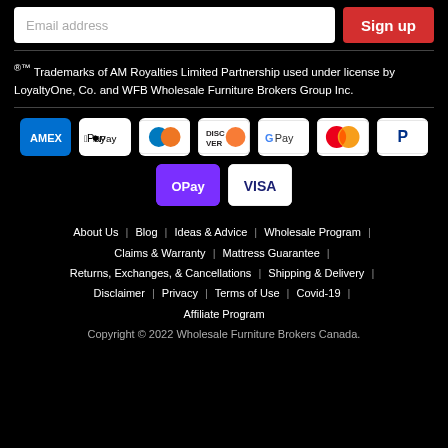[Figure (screenshot): Email address input field and Sign up button]
®™ Trademarks of AM Royalties Limited Partnership used under license by LoyaltyOne, Co. and WFB Wholesale Furniture Brokers Group Inc.
[Figure (infographic): Payment method icons: AMEX, Apple Pay, Diners Club, Discover, Google Pay, Mastercard, PayPal, OPay, VISA]
About Us | Blog | Ideas & Advice | Wholesale Program | Claims & Warranty | Mattress Guarantee | Returns, Exchanges, & Cancellations | Shipping & Delivery | Disclaimer | Privacy | Terms of Use | Covid-19 | Affiliate Program
Copyright © 2022 Wholesale Furniture Brokers Canada.